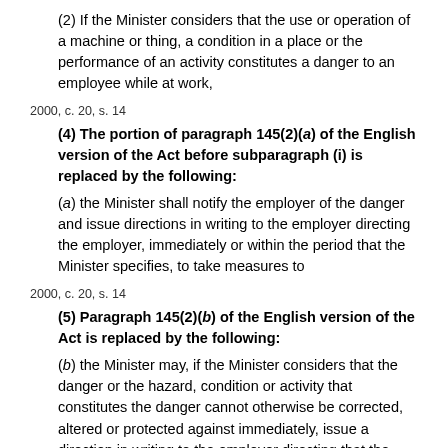(2) If the Minister considers that the use or operation of a machine or thing, a condition in a place or the performance of an activity constitutes a danger to an employee while at work,
2000, c. 20, s. 14
(4) The portion of paragraph 145(2)(a) of the English version of the Act before subparagraph (i) is replaced by the following:
(a) the Minister shall notify the employer of the danger and issue directions in writing to the employer directing the employer, immediately or within the period that the Minister specifies, to take measures to
2000, c. 20, s. 14
(5) Paragraph 145(2)(b) of the English version of the Act is replaced by the following:
(b) the Minister may, if the Minister considers that the danger or the hazard, condition or activity that constitutes the danger cannot otherwise be corrected, altered or protected against immediately, issue a direction in writing to the employer directing that the place, machine, thing or activity in respect of which the direction is issued not be